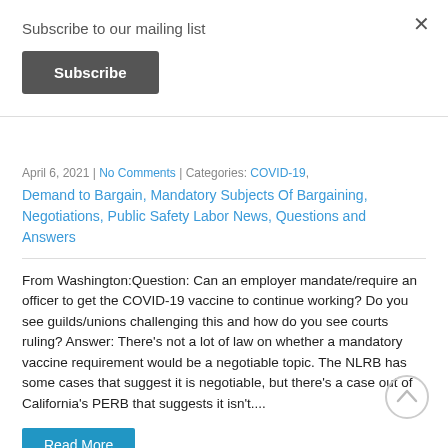Subscribe to our mailing list
Subscribe
April 6, 2021 | No Comments | Categories: COVID-19, Demand to Bargain, Mandatory Subjects Of Bargaining, Negotiations, Public Safety Labor News, Questions and Answers
From Washington:Question: Can an employer mandate/require an officer to get the COVID-19 vaccine to continue working? Do you see guilds/unions challenging this and how do you see courts ruling? Answer: There's not a lot of law on whether a mandatory vaccine requirement would be a negotiable topic. The NLRB has some cases that suggest it is negotiable, but there's a case out of California's PERB that suggests it isn't....
Read More